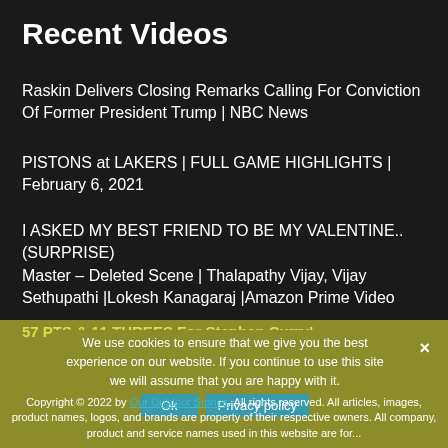Recent Videos
Raskin Delivers Closing Remarks Calling For Conviction Of Former President Trump | NBC News
PISTONS at LAKERS | FULL GAME HIGHLIGHTS | February 6, 2021
I ASKED MY BEST FRIEND TO BE MY VALENTINE.. (SURPRISE)
Master – Deleted Scene | Thalapathy Vijay, Vijay Sethupathi |Lokesh Kanagaraj |Amazon Prime Video
57 PTS & 11 THREES For Stephen Curry!
We use cookies to ensure that we give you the best experience on our website. If you continue to use this site we will assume that you are happy with it.
Copyright © 2022 by Our Outdoor Stories. All rights reserved. All articles, images, product names, logos, and brands are property of their respective owners. All company, product and service names used in this website are for...